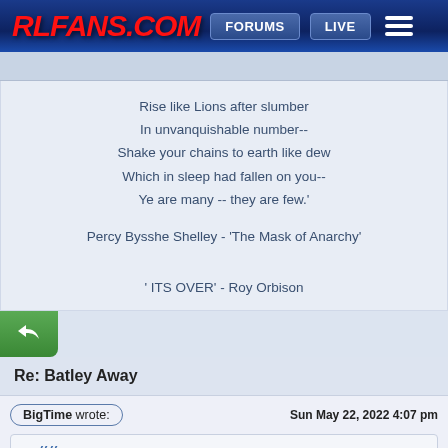RLFANS.COM  FORUMS  LIVE
Rise like Lions after slumber
In unvanquishable number--
Shake your chains to earth like dew
Which in sleep had fallen on you--
Ye are many -- they are few.'

Percy Bysshe Shelley - 'The Mask of Anarchy'

' ITS OVER' - Roy Orbison
Re: Batley Away
BigTime wrote:
Sun May 22, 2022 4:07 pm
RfE wrote: